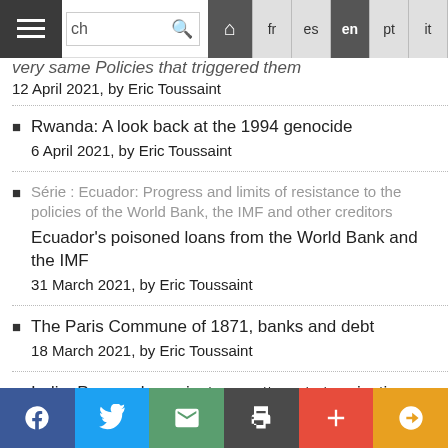Navigation bar with hamburger menu, search, language selector (fr, es, en, pt, it, de, Arabic)
very same Policies that triggered them — 12 April 2021, by Eric Toussaint
Rwanda: A look back at the 1994 genocide — 6 April 2021, by Eric Toussaint
Série : Ecuador: Progress and limits of resistance to the policies of the World Bank, the IMF and other creditors — Ecuador's poisoned loans from the World Bank and the IMF — 31 March 2021, by Eric Toussaint
The Paris Commune of 1871, banks and debt — 18 March 2021, by Eric Toussaint
India: Proposals against new attempts to privatise state-owned banks — 11 March 2021, by Eric Toussaint , Sushovan Dhar
Social share bar: Facebook, Twitter, Email, Print, Plus, Pushbullet